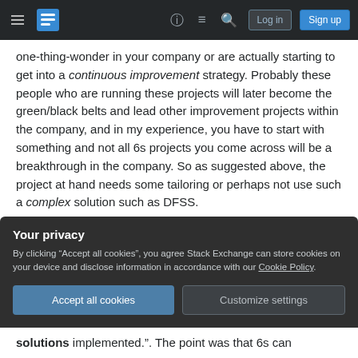Stack Exchange navigation bar with hamburger menu, logo, help, chat, search, Log in, Sign up
one-thing-wonder in your company or are actually starting to get into a continuous improvement strategy. Probably these people who are running these projects will later become the green/black belts and lead other improvement projects within the company, and in my experience, you have to start with something and not all 6s projects you come across will be a breakthrough in the company. So as suggested above, the project at hand needs some tailoring or perhaps not use such a complex solution such as DFSS.
Your privacy
By clicking "Accept all cookies", you agree Stack Exchange can store cookies on your device and disclose information in accordance with our Cookie Policy.
Accept all cookies  Customize settings
solutions implemented.". The point was that 6s can